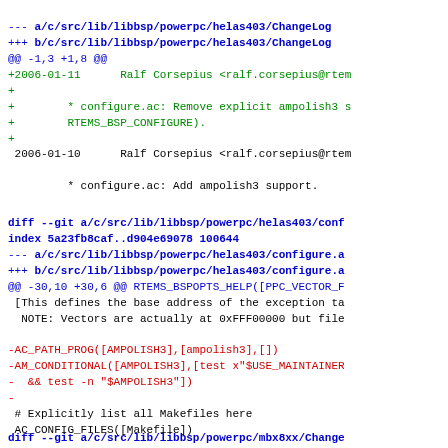--- a/c/src/lib/libbsp/powerpc/helas403/ChangeLog
+++ b/c/src/lib/libbsp/powerpc/helas403/ChangeLog
@@ -1,3 +1,8 @@
+2006-01-11      Ralf Corsepius <ralf.corsepius@rtem
+
+        * configure.ac: Remove explicit ampolish3 s
+        RTEMS_BSP_CONFIGURE).
+
 2006-01-10      Ralf Corsepius <ralf.corsepius@rtem

         * configure.ac: Add ampolish3 support.
diff --git a/c/src/lib/libbsp/powerpc/helas403/conf
index 5a23fb8caf..d904e69078 100644
--- a/c/src/lib/libbsp/powerpc/helas403/configure.a
+++ b/c/src/lib/libbsp/powerpc/helas403/configure.a
@@ -30,10 +30,6 @@ RTEMS_BSPOPTS_HELP([PPC_VECTOR_F
 [This defines the base address of the exception ta
  NOTE: Vectors are actually at 0xFFF00000 but file

-AC_PATH_PROG([AMPOLISH3],[ampolish3],[])
-AM_CONDITIONAL([AMPOLISH3],[test x"$USE_MAINTAINER
-  && test -n "$AMPOLISH3"])
-
 # Explicitly list all Makefiles here
 AC_CONFIG_FILES([Makefile])
diff --git a/c/src/lib/libbsp/powerpc/mbx8xx/Change
index 34feae5806..e8ece5a101 100644